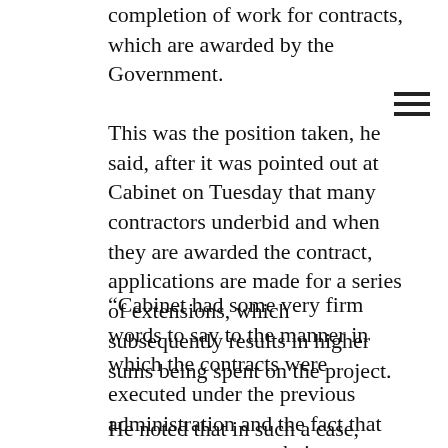completion of work for contracts, which are awarded by the Government.
This was the position taken, he said, after it was pointed out at Cabinet on Tuesday that many contractors underbid and when they are awarded the contract, applications are made for a series of extensions, which subsequently results in higher sums being spent on the project.
“Cabinet had some very firm words to say to the manner in which the contracts were executed under the previous administration and the fact that contract sums were being extended beyond the sum that was actually catered for in the award for the contract. It would appear to Cabinet that some of the contracts coming in were being deliberately underestimated, knowing fully well that they will come later on for variations,” he said.
He noted that in such a case, genuine contractors who are capable of getting the work done in a